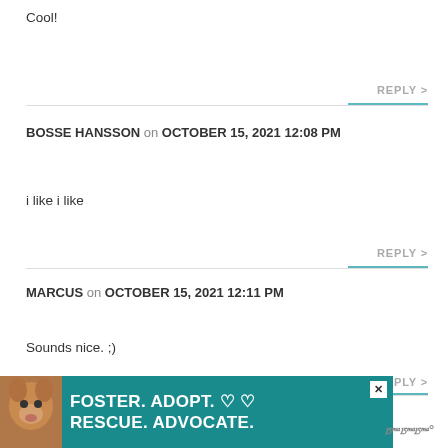Cool!
REPLY >
BOSSE HANSSON on OCTOBER 15, 2021 12:08 PM
i like i like
REPLY >
MARCUS on OCTOBER 15, 2021 12:11 PM
Sounds nice. ;)
REPLY >
JASON BOTHA on OCTOBER 15, 2021 12:21 PM
[Figure (illustration): Advertisement banner: teal background with a dog photo and text 'FOSTER. ADOPT. RESCUE. ADVOCATE.' with heart icons and a close button. Logo on right side.]